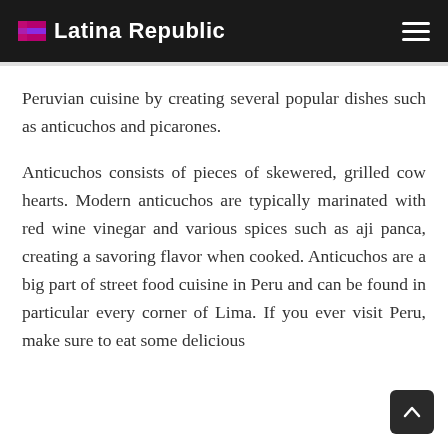Latina Republic
Peruvian cuisine by creating several popular dishes such as anticuchos and picarones.
Anticuchos consists of pieces of skewered, grilled cow hearts. Modern anticuchos are typically marinated with red wine vinegar and various spices such as aji panca, creating a savoring flavor when cooked. Anticuchos are a big part of street food cuisine in Peru and can be found in particular every corner of Lima. If you ever visit Peru, make sure to eat some delicious